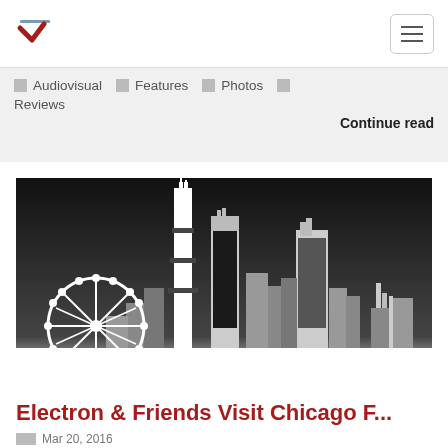V logo and hamburger menu
Audiovisual
Features
Photos
Reviews
Continue read
[Figure (illustration): City skyline silhouette on black background with a Ferris wheel on the left and tall skyscrapers in the center and right, transitioning from dark to light gradient at the bottom.]
Electron & Friends Visit Chicago F...
Mar 20, 2016